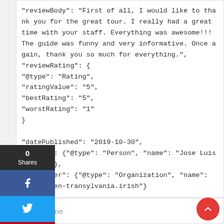"reviewBody": "First of all, I would like to thank you for the great tour. I really had a great time with your staff. Everything was awesome!!! The guide was funny and very informative. Once again, thank you so much for everything.",
"reviewRating": {
"@type": "Rating",
"ratingValue": "5",
"bestRating": "5",
"worstRating": "1"
}

"datePublished": "2019-10-30",
"author": {"@type": "Person", "name": "Jose Luis Camacho"},
"publisher": {"@type": "Organization", "name": "halloween-transylvania.irish"}
}
[Figure (other): Social share sidebar with 0 Shares count, Facebook (blue), Twitter (light blue), Pinterest (red), and more (...) buttons]
Trip Outline